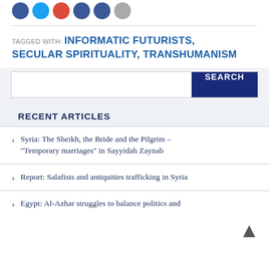[Figure (illustration): Row of social media icon circles in blue, light blue, red, dark blue, blue, and gray colors]
TAGGED WITH: INFORMATIC FUTURISTS, SECULAR SPIRITUALITY, TRANSHUMANISM
[Figure (screenshot): Search bar with text input and dark blue SEARCH button]
RECENT ARTICLES
Syria: The Sheikh, the Bride and the Pilgrim – "Temporary marriages" in Sayyidah Zaynab
Report: Salafists and antiquities trafficking in Syria
Egypt: Al-Azhar struggles to balance politics and